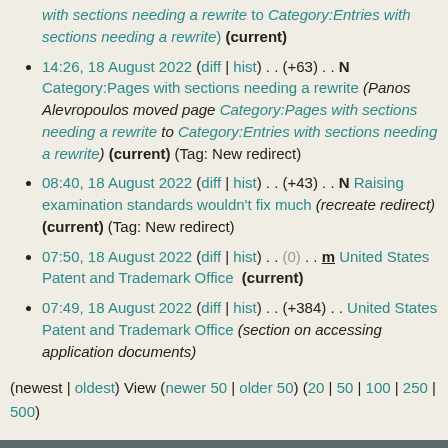with sections needing a rewrite to Category:Entries with sections needing a rewrite) (current)
14:26, 18 August 2022 (diff | hist) . . (+63) . . N Category:Pages with sections needing a rewrite (Panos Alevropoulos moved page Category:Pages with sections needing a rewrite to Category:Entries with sections needing a rewrite) (current) (Tag: New redirect)
08:40, 18 August 2022 (diff | hist) . . (+43) . . N Raising examination standards wouldn't fix much (recreate redirect) (current) (Tag: New redirect)
07:50, 18 August 2022 (diff | hist) . . (0) . . m United States Patent and Trademark Office (current)
07:49, 18 August 2022 (diff | hist) . . (+384) . . United States Patent and Trademark Office (section on accessing application documents)
(newest | oldest) View (newer 50 | older 50) (20 | 50 | 100 | 250 | 500)